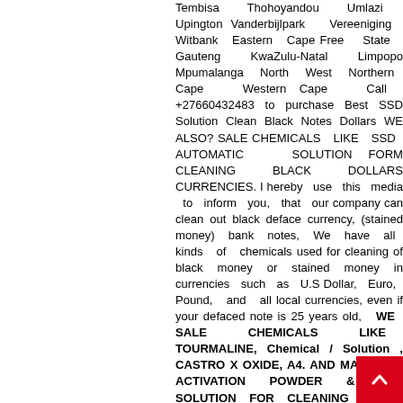Tembisa Thohoyandou Umlazi Upington Vanderbijlpark Vereeniging Witbank Eastern Cape Free State Gauteng KwaZulu-Natal Limpopo Mpumalanga North West Northern Cape Western Cape Call +27660432483 to purchase Best SSD Solution Clean Black Notes Dollars WE ALSO? SALE CHEMICALS LIKE SSD AUTOMATIC SOLUTION FORM CLEANING BLACK DOLLARS CURRENCIES. I hereby use this media to inform you, that our company can clean out black deface currency, (stained money) bank notes, We have all kinds of chemicals used for cleaning of black money or stained money in currencies such as U.S Dollar, Euro, Pound, and all local currencies, even if your defaced note is 25 years old, WE SALE CHEMICALS LIKE TOURMALINE, Chemical / Solution , CASTRO X OXIDE, A4. AND MANY Like ACTIVATION POWDER & SSD SOLUTION FOR CLEANING BLACK MONEY Chemical and Allied product incorporated is a major manufacturer of industrial and pharmaceutical products with key specialization in the production of Automatic solution used in the cleaning of black money,defaced money and stained bank notes with anti breeze